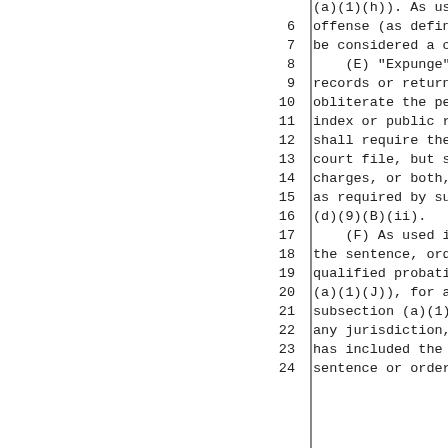(a)(1)(h)). As used in
6   offense (as defined in
7   be considered a crimina
8   (E) "Expunge" means
9   records or return them
10  obliterate the petition
11  index or public record,
12  shall require the physi
13  court file, but such re
14  charges, or both, order
15  as required by subsecti
16  (d)(9)(B)(ii).
17  (F) As used in this
18  the sentence, order of
19  qualified probation (as
20  (a)(1)(J)), for a crimi
21  subsection (a)(1)(D)) t
22  any jurisdiction, regar
23  has included the crimin
24  sentence or order of su